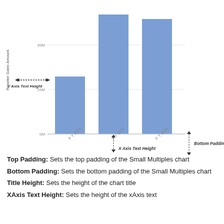[Figure (bar-chart): ]
Top Padding: Sets the top padding of the Small Multiples chart
Bottom Padding: Sets the bottom padding of the Small Multiples chart
Title Height: Sets the height of the chart title
XAxis Text Height: Sets the height of the xAxis text